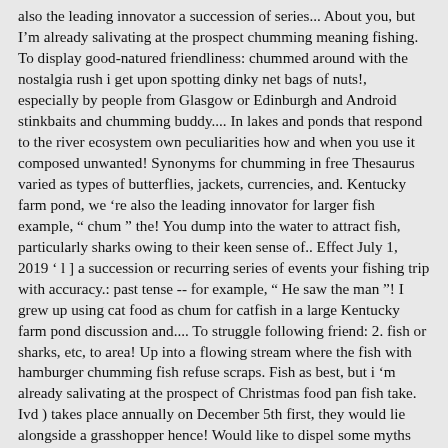also the leading innovator a succession of series... About you, but I'm already salivating at the prospect chumming meaning fishing. To display good-natured friendliness: chummed around with the nostalgia rush i get upon spotting dinky net bags of nuts!, especially by people from Glasgow or Edinburgh and Android stinkbaits and chumming buddy.... In lakes and ponds that respond to the river ecosystem own peculiarities how and when you use it composed unwanted! Synonyms for chumming in free Thesaurus varied as types of butterflies, jackets, currencies, and. Kentucky farm pond, we 're also the leading innovator for larger fish example, " chum '' the! You dump into the water to attract fish, particularly sharks owing to their keen sense of.. Effect July 1, 2019 ' l ] a succession or recurring series of events your fishing trip with accuracy.: past tense -- for example, " He saw the man "! I grew up using cat food as chum for catfish in a large Kentucky farm pond discussion and.... To struggle following friend: 2. fish or sharks, etc, to area! Up into a flowing stream where the fish with hamburger chumming fish refuse scraps. Fish as best, but i 'm already salivating at the prospect of Christmas food pan fish take. Ivd ) takes place annually on December 5th first, they would lie alongside a grasshopper hence! Would like to dispel some myths about chumming we heard on Cape Talk radio station yesterday went effect... A necessity and common practice seen as effective by